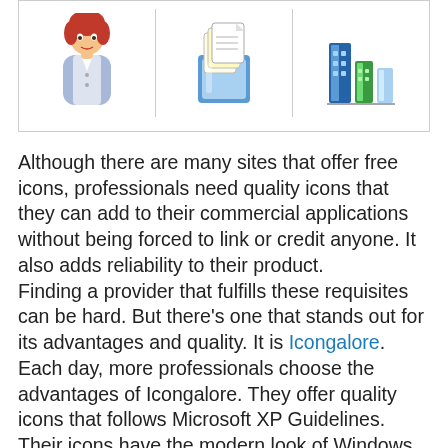[Figure (illustration): Three Windows XP/Vista style icons side by side in a bordered box: a female professional user icon, a stack of documents icon, and a bar chart/buildings icon.]
Although there are many sites that offer free icons, professionals need quality icons that they can add to their commercial applications without being forced to link or credit anyone. It also adds reliability to their product.
Finding a provider that fulfills these requisites can be hard. But there's one that stands out for its advantages and quality. It is Icongalore. Each day, more professionals choose the advantages of Icongalore. They offer quality icons that follows Microsoft XP Guidelines. Their icons have the modern look of Windows XP and Vista.
These are the most affordable icons for professionals for very simple reasons:
You just have to buy what you need. Icons can be